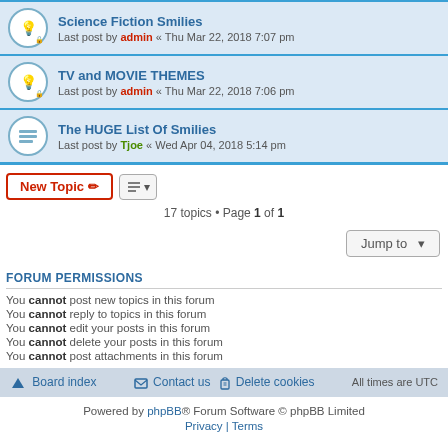Science Fiction Smilies — Last post by admin « Thu Mar 22, 2018 7:07 pm
TV and MOVIE THEMES — Last post by admin « Thu Mar 22, 2018 7:06 pm
The HUGE List Of Smilies — Last post by Tjoe « Wed Apr 04, 2018 5:14 pm
17 topics • Page 1 of 1
FORUM PERMISSIONS
You cannot post new topics in this forum
You cannot reply to topics in this forum
You cannot edit your posts in this forum
You cannot delete your posts in this forum
You cannot post attachments in this forum
Board index | Contact us | Delete cookies | All times are UTC
Powered by phpBB® Forum Software © phpBB Limited
Privacy | Terms